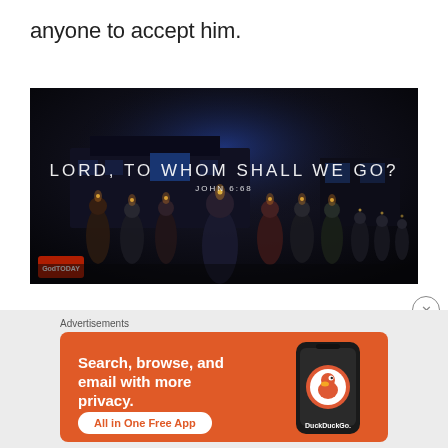anyone to accept him.
[Figure (photo): Night photograph of a group of people wearing masks and holding candles outside a building. Text overlay reads 'LORD, TO WHOM SHALL WE GO?' and 'JOHN 6:68'. A GodToday logo appears in the lower left corner.]
Advertisements
[Figure (screenshot): DuckDuckGo advertisement banner with orange background. Text reads 'Search, browse, and email with more privacy. All in One Free App'. Shows a phone with DuckDuckGo app and logo.]